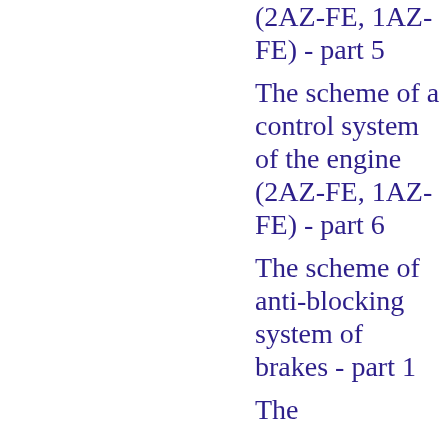(2AZ-FE, 1AZ-FE) - part 5
The scheme of a control system of the engine (2AZ-FE, 1AZ-FE) - part 6
The scheme of anti-blocking system of brakes - part 1
The